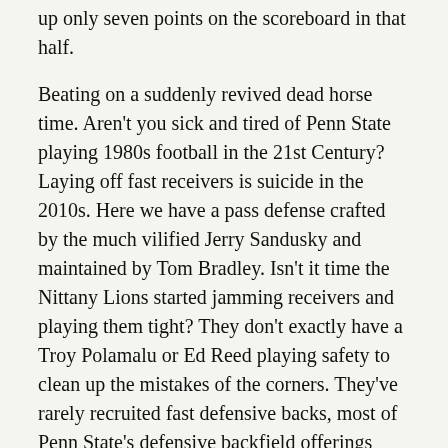up only seven points on the scoreboard in that half.
Beating on a suddenly revived dead horse time. Aren't you sick and tired of Penn State playing 1980s football in the 21st Century? Laying off fast receivers is suicide in the 2010s. Here we have a pass defense crafted by the much vilified Jerry Sandusky and maintained by Tom Bradley. Isn't it time the Nittany Lions started jamming receivers and playing them tight? They don't exactly have a Troy Polamalu or Ed Reed playing safety to clean up the mistakes of the corners. They've rarely recruited fast defensive backs, most of Penn State's defensive backfield offerings being shunned by the NFL.
The new head coach, if one is ever chosen, must revamp the defense. That's one good reason